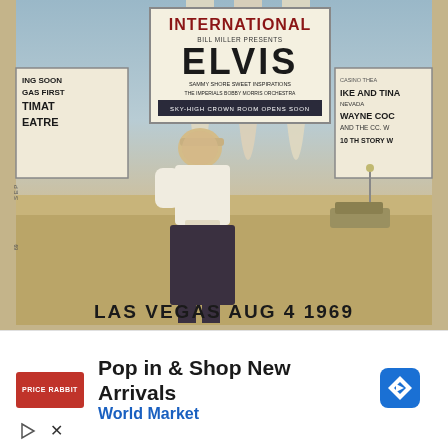[Figure (photo): Vintage photograph (circa 1969) of a young blonde woman standing in front of the International Hotel marquee in Las Vegas. The large sign reads 'INTERNATIONAL / BILL MILLER PRESENTS / ELVIS / SAMMY SHORE / THE IMPERIALS / SWEET INSPIRATIONS / BOBBY MORRIS ORCHESTRA / SKY-HIGH CROWN ROOM OPENS SOON'. Left side sign partially shows 'ING SOON / GAS FIRST / TIMAT / EATRE'. Right side sign shows 'CASINO THEA / IKE AND TINA / NEVADA / WAYNE COC / AND THE CC.W / 10 TH STORY W'. Handwritten text at bottom reads 'LAS VEGAS AUG 4 1969'.]
[Figure (screenshot): Advertisement banner: 'Pop in & Shop New Arrivals / World Market' with World Market logo on left and blue diamond navigation icon on right.]